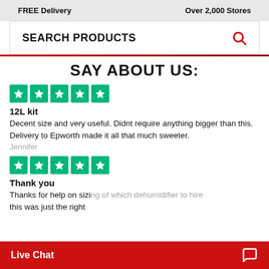FREE Delivery    Over 2,000 Stores
SEARCH PRODUCTS
SAY ABOUT US:
[Figure (other): Five green Trustpilot star rating boxes]
12L kit
Decent size and very useful. Didnt require anything bigger than this. Delivery to Epworth made it all that much sweeter.
Jennifer
[Figure (other): Five green Trustpilot star rating boxes]
Thank you
Thanks for help on sizing of which dehumidifier to hire this was just the right